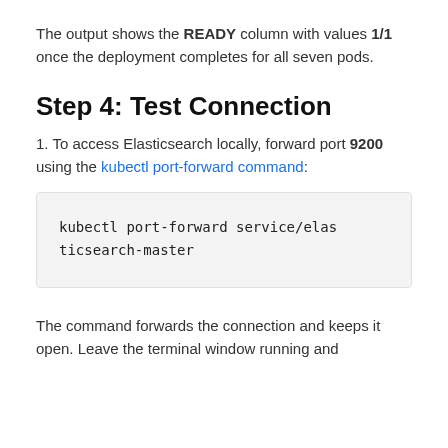The output shows the READY column with values 1/1 once the deployment completes for all seven pods.
Step 4: Test Connection
1. To access Elasticsearch locally, forward port 9200 using the kubectl port-forward command:
kubectl port-forward service/elasticsearch-master
The command forwards the connection and keeps it open. Leave the terminal window running and